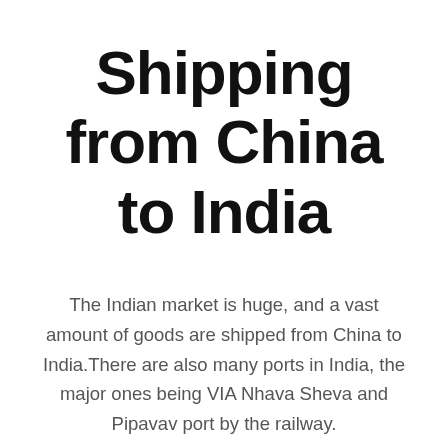Shipping from China to India
The Indian market is huge, and a vast amount of goods are shipped from China to India.There are also many ports in India, the major ones being VIA Nhava Sheva and Pipavav port by the railway.
We provide competitive freight rates and